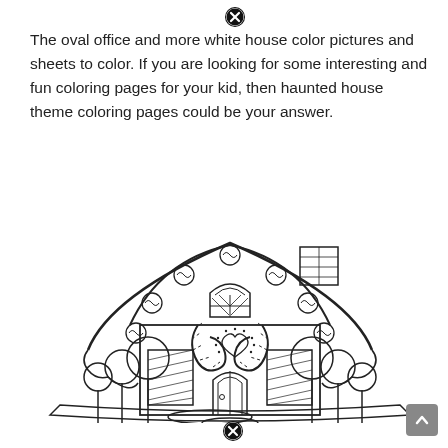The oval office and more white house color pictures and sheets to color. If you are looking for some interesting and fun coloring pages for your kid, then haunted house theme coloring pages could be your answer.
[Figure (illustration): A black and white line drawing of a gingerbread house coloring page. The house features a candy-decorated roof with swirl candy ornaments, a chimney, an arched window with panes, candy cane pillars, a heart on the front door arch, a small arched door, shutters with diagonal hatching, and lollipop trees on both sides. At the bottom are two oval candy/cookie shapes. The drawing is uncolored, intended as a coloring page.]